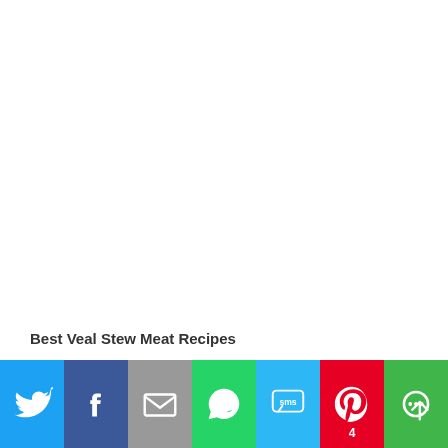Best Veal Stew Meat Recipes
[Figure (infographic): Social media share bar with icons for Twitter, Facebook, Email, WhatsApp, SMS, Pinterest (with count 4), and More options]